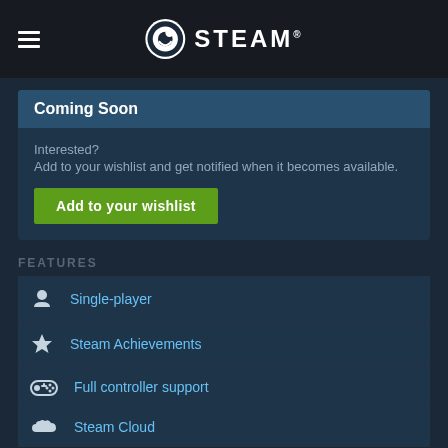[Figure (logo): Steam logo with hamburger menu icon on dark header bar]
Coming Soon
Interested?
Add to your wishlist and get notified when it becomes available.
Add to your wishlist
FEATURES
Single-player
Steam Achievements
Full controller support
Steam Cloud
LINKS & INFO